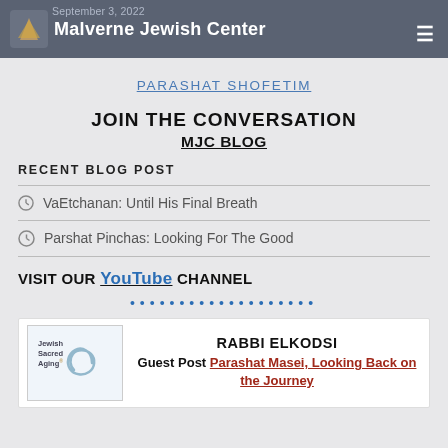September 3, 2022 | Malverne Jewish Center
PARASHAT SHOFETIM
JOIN THE CONVERSATION
MJC BLOG
RECENT BLOG POST
VaEtchanan: Until His Final Breath
Parshat Pinchas: Looking For The Good
VISIT OUR YouTube CHANNEL
[Figure (logo): Jewish Sacred Aging logo with spiral swirl design]
RABBI ELKODSI
Guest Post Parashat Masei, Looking Back on the Journey